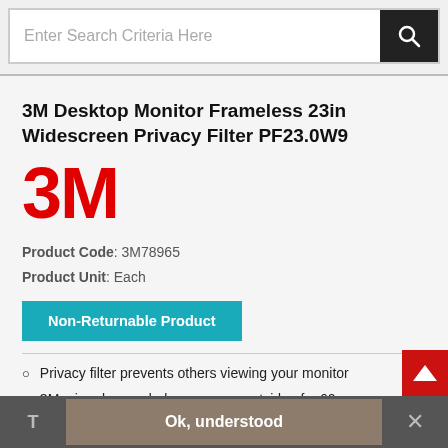Enter Search Criteria Here
3M Desktop Monitor Frameless 23in Widescreen Privacy Filter PF23.0W9
[Figure (logo): 3M red logo]
Product Code: 3M78965
Product Unit: Each
Non-Returnable Product
Privacy filter prevents others viewing your monitor
3M micro-louvre darkens screen outside of a 60...